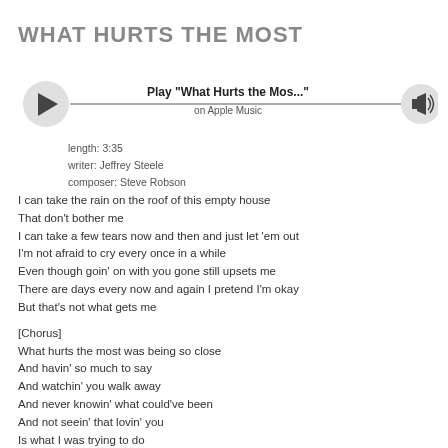WHAT HURTS THE MOST
[Figure (other): Apple Music player widget showing Play 'What Hurts the Mos...' on Apple Music with play button, progress line, and volume button]
length: 3:35
writer: Jeffrey Steele
composer: Steve Robson
I can take the rain on the roof of this empty house
That don't bother me
I can take a few tears now and then and just let 'em out
I'm not afraid to cry every once in a while
Even though goin' on with you gone still upsets me
There are days every now and again I pretend I'm okay
But that's not what gets me
[Chorus]
What hurts the most was being so close
And havin' so much to say
And watchin' you walk away
And never knowin' what could've been
And not seein' that lovin' you
Is what I was trying to do
It's hard to deal with the pain of losin' you everywhere I go
But I'm doing it